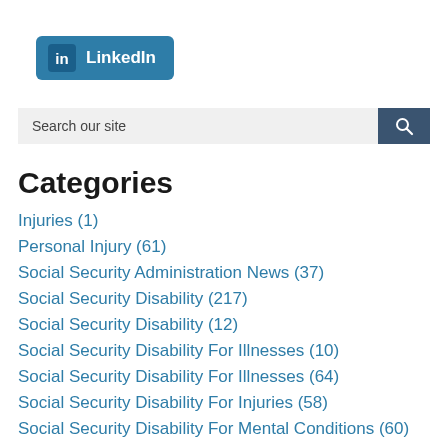[Figure (logo): LinkedIn logo button with 'in' icon and 'LinkedIn' text on blue rounded rectangle background]
[Figure (other): Search bar with placeholder 'Search our site' and dark blue search button with magnifying glass icon]
Categories
Injuries (1)
Personal Injury (61)
Social Security Administration News (37)
Social Security Disability (217)
Social Security Disability (12)
Social Security Disability For Illnesses (10)
Social Security Disability For Illnesses (64)
Social Security Disability For Injuries (58)
Social Security Disability For Mental Conditions (60)
Uncategorized (48)
Workers' Compensation (53)